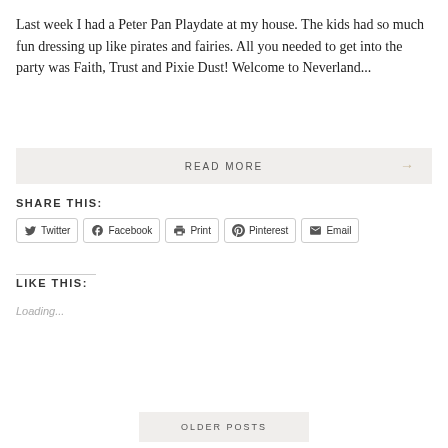Last week I had a Peter Pan Playdate at my house. The kids had so much fun dressing up like pirates and fairies. All you needed to get into the party was Faith, Trust and Pixie Dust! Welcome to Neverland...
READ MORE →
SHARE THIS:
Twitter  Facebook  Print  Pinterest  Email
LIKE THIS:
Loading...
OLDER POSTS